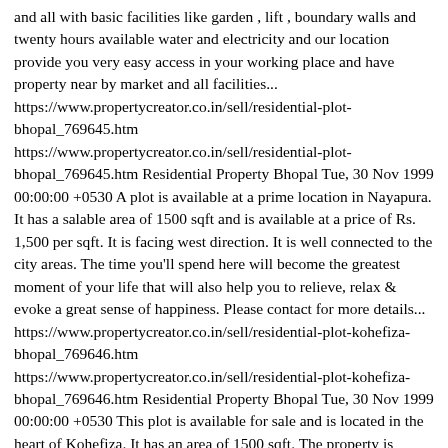and all with basic facilities like garden , lift , boundary walls and twenty hours available water and electricity and our location provide you very easy access in your working place and have property near by market and all facilities... https://www.propertycreator.co.in/sell/residential-plot-bhopal_769645.htm https://www.propertycreator.co.in/sell/residential-plot-bhopal_769645.htm Residential Property Bhopal Tue, 30 Nov 1999 00:00:00 +0530 A plot is available at a prime location in Nayapura. It has a salable area of 1500 sqft and is available at a price of Rs. 1,500 per sqft. It is facing west direction. It is well connected to the city areas. The time you'll spend here will become the greatest moment of your life that will also help you to relieve, relax & evoke a great sense of happiness. Please contact for more details... https://www.propertycreator.co.in/sell/residential-plot-kohefiza-bhopal_769646.htm https://www.propertycreator.co.in/sell/residential-plot-kohefiza-bhopal_769646.htm Residential Property Bhopal Tue, 30 Nov 1999 00:00:00 +0530 This plot is available for sale and is located in the heart of Kohefiza. It has an area of 1500 sqft. The property is available at a price of Rs. 1.00 cr . It is facing northeast direction. It is well connected to the city areas. Kindly call for details... https://www.propertycreator.co.in/sell/4-bhk-individual-houses-villas-lalghati-bhopal_769647.htm https://www.propertycreator.co.in/sell/4-bhk-individual-houses-